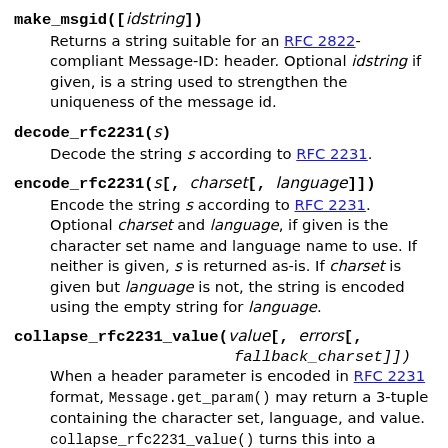make_msgid([idstring]) — Returns a string suitable for an RFC 2822-compliant Message-ID: header. Optional idstring if given, is a string used to strengthen the uniqueness of the message id.
decode_rfc2231(s) — Decode the string s according to RFC 2231.
encode_rfc2231(s[, charset[, language]]) — Encode the string s according to RFC 2231. Optional charset and language, if given is the character set name and language name to use. If neither is given, s is returned as-is. If charset is given but language is not, the string is encoded using the empty string for language.
collapse_rfc2231_value(value[, errors[, fallback_charset]]) — When a header parameter is encoded in RFC 2231 format, Message.get_param() may return a 3-tuple containing the character set, language, and value. collapse_rfc2231_value() turns this into a unicode string. Optional errors is passed to the errors argument of the built-in unicode() function; it defaults to replace.